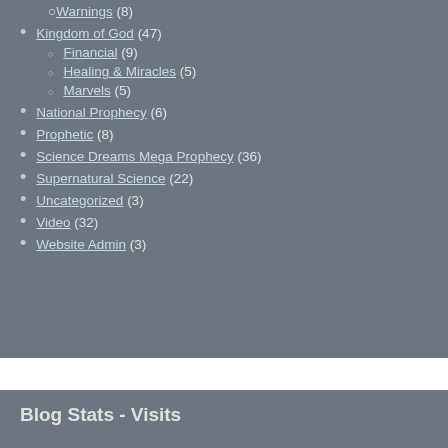Warnings (8)
Kingdom of God (47)
Financial (9)
Healing & Miracles (5)
Marvels (5)
National Prophecy (6)
Prophetic (8)
Science Dreams Mega Prophecy (36)
Supernatural Science (22)
Uncategorized (3)
Video (32)
Website Admin (3)
Blog Stats - Visits